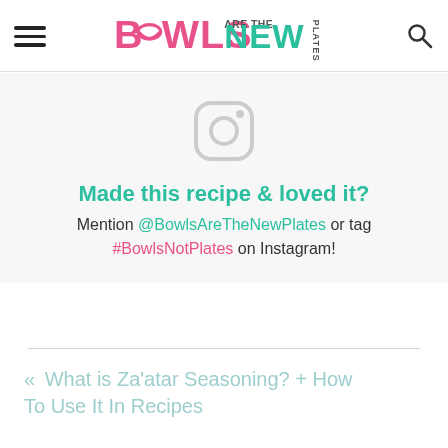BOWLS ARE THE NEW PLATES
[Figure (logo): Instagram camera icon, light gray outline style]
Made this recipe & loved it?
Mention @BowlsAreTheNewPlates or tag #BowlsNotPlates on Instagram!
« What is Za'atar Seasoning? + How To Use It In Recipes